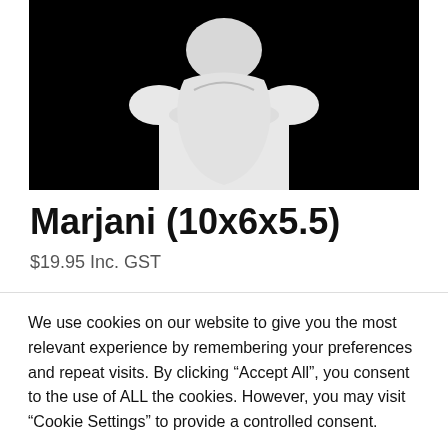[Figure (photo): White mannequin torso/head on black background, product photo for Marjani item]
Marjani (10x6x5.5)
$19.95 Inc. GST
We use cookies on our website to give you the most relevant experience by remembering your preferences and repeat visits. By clicking “Accept All”, you consent to the use of ALL the cookies. However, you may visit "Cookie Settings" to provide a controlled consent.